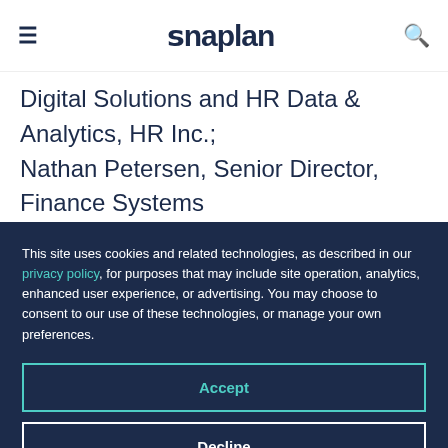Anaplan
Digital Solutions and HR Data & Analytics, HR Inc.; Nathan Petersen, Senior Director, Finance Systems & Operations Transformation, Autodesk; and Tyler Snellings, Director of FP&A, AdRoll Group and will be
This site uses cookies and related technologies, as described in our privacy policy, for purposes that may include site operation, analytics, enhanced user experience, or advertising. You may choose to consent to our use of these technologies, or manage your own preferences.
Accept
Decline
Manage settings